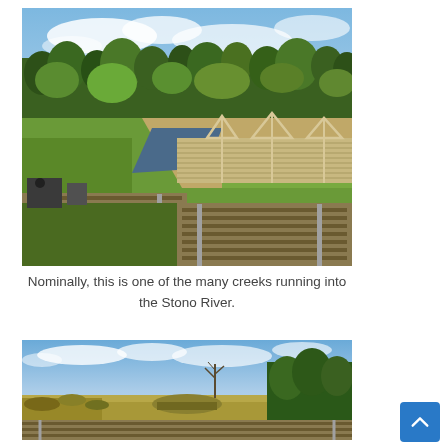[Figure (photo): Aerial view of a model railroad layout showing a creek crossing with a wooden trestle bridge, railway tracks, green terrain, trees and shrubbery in the background, and a blue cloudy sky.]
Nominally, this is one of the many creeks running into the Stono River.
[Figure (photo): Model railroad layout showing a wide flat landscape with railway tracks in the foreground, sparse vegetation, a bare tree in the middle distance, dense green trees on the right, and a blue sky with clouds.]